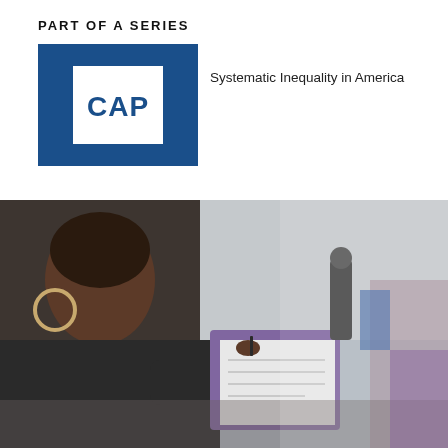PART OF A SERIES
[Figure (logo): CAP (Center for American Progress) logo: white square with 'CAP' text in dark blue on a blue background]
Systematic Inequality in America
[Figure (photo): A Black woman with hoop earrings writes on a clipboard/form at what appears to be an outdoor job fair or community event. She is wearing a dark jacket. The background is blurred showing other people and buildings.]